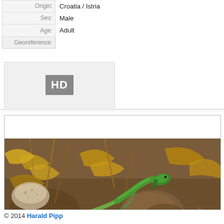| Origin: | Croatia / Istria |
| Sex: | Male |
| Age: | Adult |
| Georeference: |  |
[Figure (photo): HD video/photo placeholder badge showing 'HD' in gray box]
[Figure (photo): Photograph of a green lizard (Lacerta viridis or similar) resting on rocky soil amid dry leaves and plant debris, photographed in Croatia/Istria. The lizard is prominently green on its upper body with a lighter underside, showing scaled texture.]
© 2014 Harald Pipp